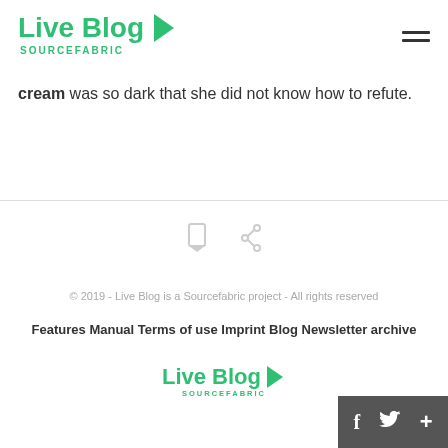Live Blog SOURCEFABRIC
cream was so dark that she did not know how to refute.
[Figure (other): Two small social media icon placeholders (bookmark and share icons) centered on the page]
© 2019 - Live Blog is a Sourcefabric project - All rights reserved
Features Manual Terms of use Imprint Blog Newsletter archive
[Figure (logo): Live Blog Sourcefabric logo in green]
[Figure (other): Dark grey social sharing bar with f, twitter bird, and + icons]